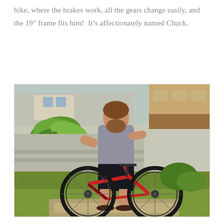bike, where the brakes work, all the gears change easily, and the 19″ frame fits him!  It's affectionately named Chuck.
[Figure (photo): A bearded man in a grey t-shirt and black shorts standing with a red mountain bike outdoors, with a green banana plant, concrete block wall, and a wooden building in the background.]